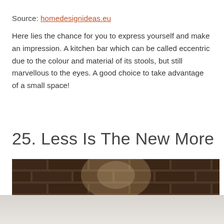Source: homedesignideas.eu
Here lies the chance for you to express yourself and make an impression. A kitchen bar which can be called eccentric due to the colour and material of its stools, but still marvellous to the eyes. A good choice to take advantage of a small space!
25. Less Is The New More
[Figure (photo): Photo of a brick wall kitchen bar area with warm spotlight illumination, showing dark brown brick texture. Below is a reflection or continuation showing a lighter surface.]